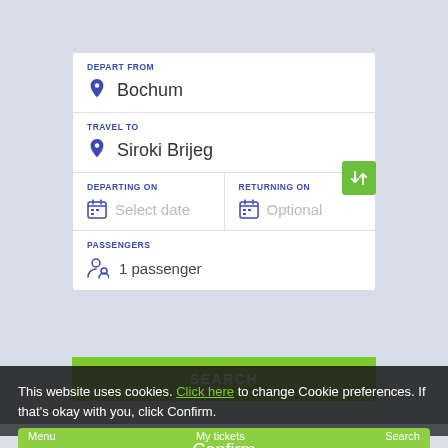DEPART FROM
Bochum
TRAVEL TO
Siroki Brijeg
DEPARTING ON
Select date
RETURNING ON
Optional
PASSENGERS
1 passenger
SEARCH
This website uses cookies. Click here to change Cookie preferences. If that's okay with you, click Confirm.
Confirm
Menu   My tickets   Search